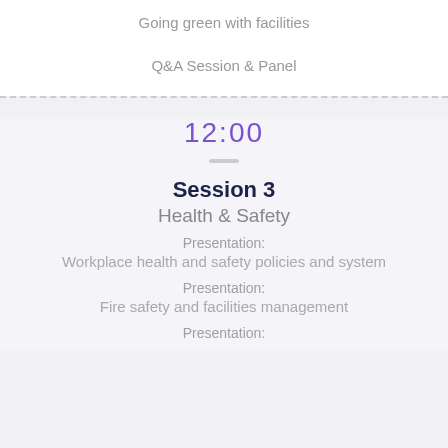Going green with facilities
Q&A Session & Panel
12:00
Session 3
Health & Safety
Presentation:
Workplace health and safety policies and system
Presentation:
Fire safety and facilities management
Presentation: